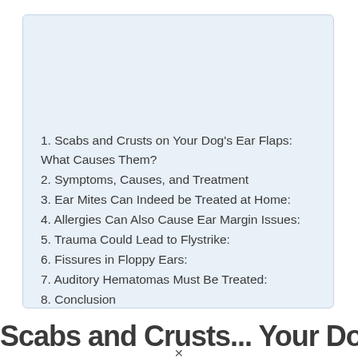1. Scabs and Crusts on Your Dog's Ear Flaps: What Causes Them?
2. Symptoms, Causes, and Treatment
3. Ear Mites Can Indeed be Treated at Home:
4. Allergies Can Also Cause Ear Margin Issues:
5. Trauma Could Lead to Flystrike:
6. Fissures in Floppy Ears:
7. Auditory Hematomas Must Be Treated:
8. Conclusion
Scabs and Crusts on Your Dog's...